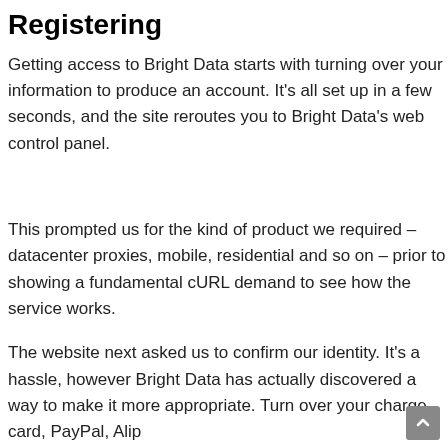Registering
Getting access to Bright Data starts with turning over your information to produce an account. It's all set up in a few seconds, and the site reroutes you to Bright Data's web control panel.
This prompted us for the kind of product we required – datacenter proxies, mobile, residential and so on – prior to showing a fundamental cURL demand to see how the service works.
The website next asked us to confirm our identity. It's a hassle, however Bright Data has actually discovered a way to make it more appropriate. Turn over your charge card, PayPal, Alip…